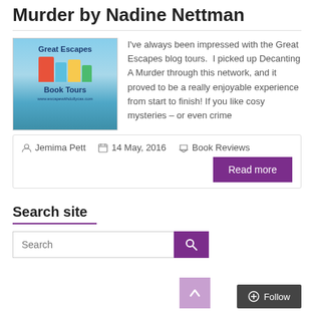Murder by Nadine Nettman
[Figure (illustration): Great Escapes Book Tours logo — colorful stacked books on a sky and ocean background, text reads 'Great Escapes Book Tours www.escapewithdollycas.com']
I've always been impressed with the Great Escapes blog tours. I picked up Decanting A Murder through this network, and it proved to be a really enjoyable experience from start to finish! If you like cosy mysteries – or even crime
Jemima Pett   14 May, 2016   Book Reviews
Read more
Search site
Search